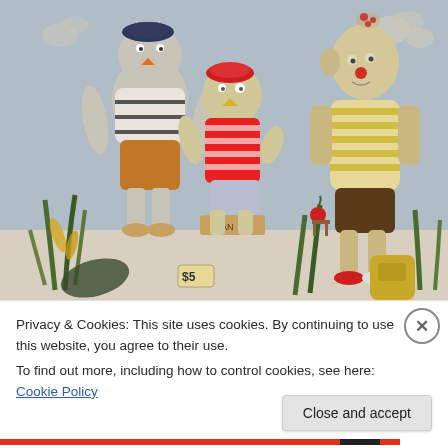[Figure (photo): Ceramic sculptural figures of whimsical bird-human characters. Three main figures stand in a scene: left figure wears a police/beret hat, white shirt with stripes, orange pants; center figure sits in a chair wearing a red striped shirt and red hat; right figure wears a yellow striped shirt and brown shorts. Various clay plant elements and objects surround them on a white surface. A price tag showing '$5' is visible in the lower left. Background has a gray/blue wall with cloud-like forms.]
Privacy & Cookies: This site uses cookies. By continuing to use this website, you agree to their use.
To find out more, including how to control cookies, see here: Cookie Policy
Close and accept